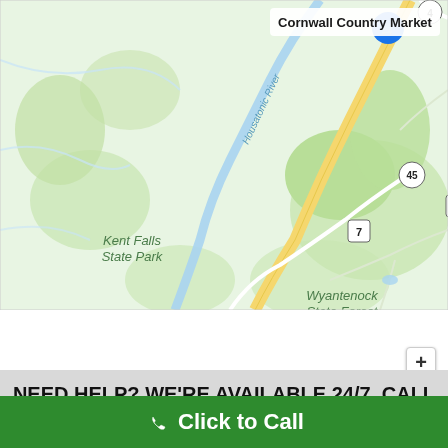[Figure (map): Google Maps screenshot showing Cornwall area in Connecticut with Housatonic River, Route 7, Route 45, Route 4, Kent Falls State Park, Wyantenock State Forest, and a marker for Cornwall Country Market.]
NEED HELP? WE'RE AVAILABLE 24/7. CALL NOW. 1.877.959.6069
Click to Call